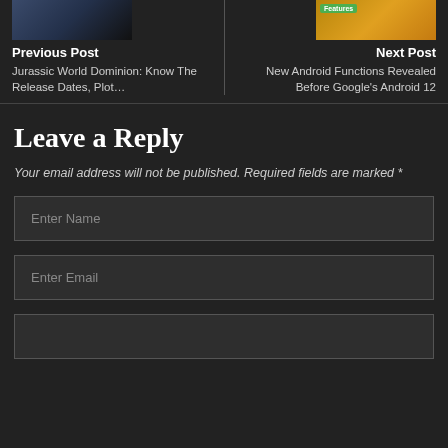[Figure (photo): Thumbnail image for Jurassic World Dominion article, dark blue tones with figures]
[Figure (photo): Thumbnail image for Next Post about Android 12, golden/yellow tones with a device, Features badge visible]
Previous Post
Next Post
Jurassic World Dominion: Know The Release Dates, Plot…
New Android Functions Revealed Before Google's Android 12
Leave a Reply
Your email address will not be published. Required fields are marked *
Enter Name
Enter Email